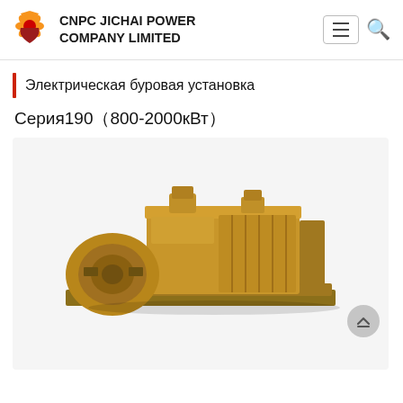CNPC JICHAI POWER COMPANY LIMITED
Электрическая буровая установка
Серия190（800-2000кВт）
[Figure (photo): Large industrial diesel generator set / power unit mounted on a yellow frame, CNPC Jichai brand, viewed from a three-quarter front angle against a white background]